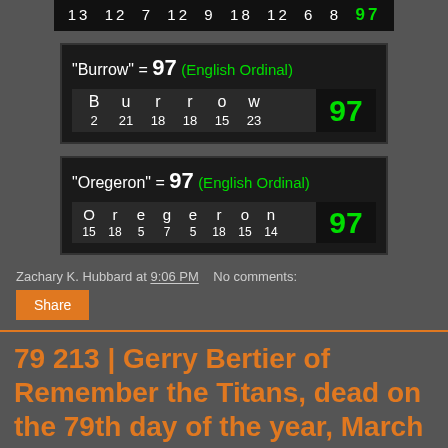[Figure (other): Gematria table showing letters and numbers: 13 12 7 12 9 18 12 6 8 = 97]
[Figure (other): Gematria cipher box: "Burrow" = 97 (English Ordinal). Letters B u r r o w with values 2 21 18 18 15 23 = 97]
[Figure (other): Gematria cipher box: "Oregeron" = 97 (English Ordinal). Letters O r e g e r o n with values 15 18 5 7 5 18 15 14 = 97]
Zachary K. Hubbard at 9:06 PM   No comments:
Share
79 213 | Gerry Bertier of Remember the Titans, dead on the 79th day of the year, March 20, 1981